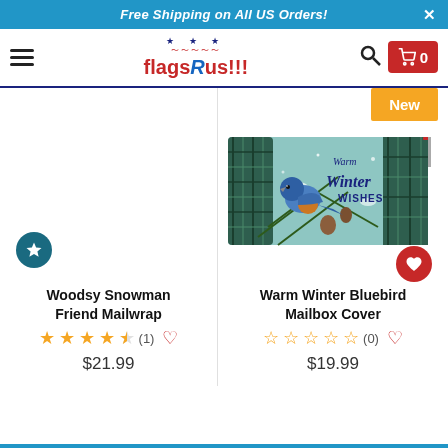Free Shipping on All US Orders!
[Figure (logo): FlagsRus!!! logo with stars and stripes decoration, navigation bar with hamburger menu, search icon, and cart button showing 0 items]
[Figure (photo): Warm Winter Bluebird Mailbox Cover product image showing a bluebird on pine branch with text 'Warm Winter Wishes' on teal/plaid background, with New badge and red heart/wishlist button]
Woodsy Snowman Friend Mailwrap
★★★★½ (1) ♡ $21.99
Warm Winter Bluebird Mailbox Cover
☆☆☆☆☆ (0) ♡ $19.99